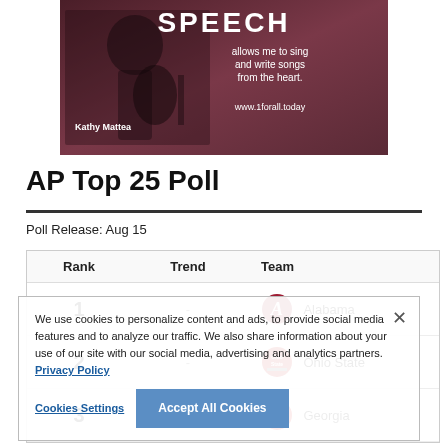[Figure (photo): Advertisement banner for 1forall.today featuring Kathy Mattea with guitar and text: SPEECH allows me to sing and write songs from the heart. www.1forall.today]
AP Top 25 Poll
Poll Release: Aug 15
| Rank | Trend | Team |
| --- | --- | --- |
| 1 | - | Alabama |
| 2 | - | Ohio State |
| 3 | - | Georgia |
We use cookies to personalize content and ads, to provide social media features and to analyze our traffic. We also share information about your use of our site with our social media, advertising and analytics partners. Privacy Policy
Cookies Settings    Accept All Cookies